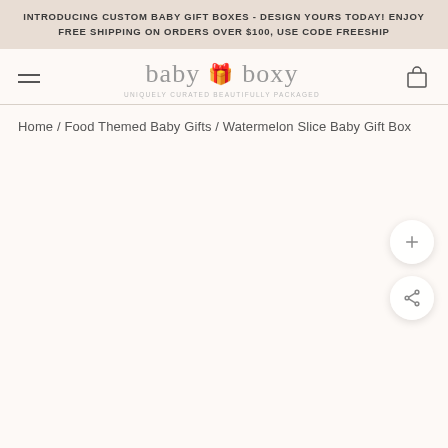INTRODUCING CUSTOM BABY GIFT BOXES - DESIGN YOURS TODAY! ENJOY FREE SHIPPING ON ORDERS OVER $100, USE CODE FREESHIP
baby 🎁 boxy
UNIQUELY CURATED BEAUTIFULLY PACKAGED
Home / Food Themed Baby Gifts / Watermelon Slice Baby Gift Box